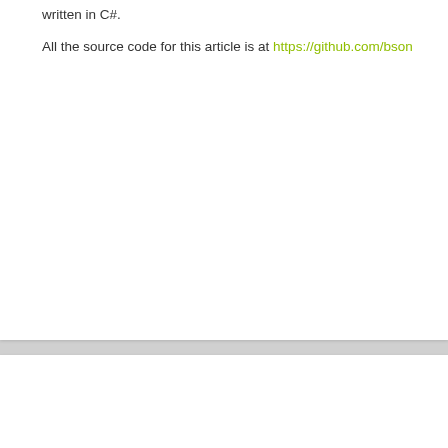written in C#.
All the source code for this article is at https://github.com/bson
© Copyright 2022 - Bruno Sonnino